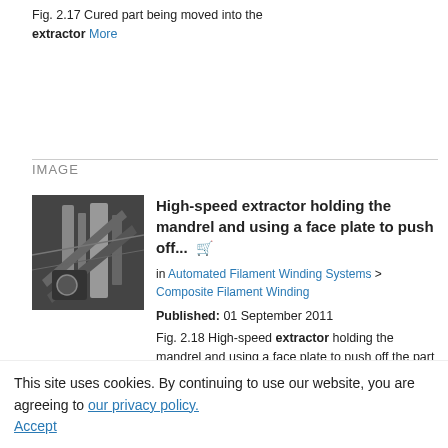Fig. 2.17 Cured part being moved into the extractor More
IMAGE
[Figure (photo): Black and white photograph of a high-speed extractor holding a mandrel with metal components visible]
High-speed extractor holding the mandrel and using a face plate to push off...
in Automated Filament Winding Systems > Composite Filament Winding
Published: 01 September 2011
Fig. 2.18 High-speed extractor holding the mandrel and using a face plate to push off the part More
This site uses cookies. By continuing to use our website, you are agreeing to our privacy policy. Accept